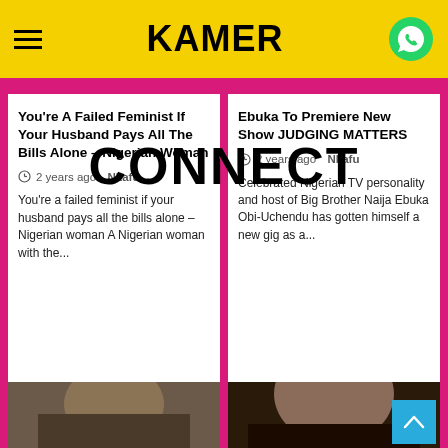KAMER
CONNECT
You're A Failed Feminist If Your Husband Pays All The Bills Alone – Nigerian Woman
2 years ago  Nkafu
You're a failed feminist if your husband pays all the bills alone – Nigerian woman A Nigerian woman with the...
Ebuka To Premiere New Show JUDGING MATTERS
2 years ago  Nkafu
Celebrated Nigerian TV personality and host of Big Brother Naija Ebuka Obi-Uchendu has gotten himself a new gig as a...
[Figure (photo): Photo of a person in costume/makeup, cropped at bottom of page]
[Figure (photo): Photo of a woman's face, cropped at bottom of page]